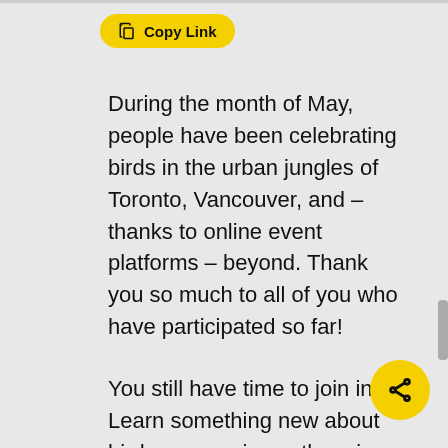[Figure (screenshot): Copy Link button with yellow pill-shaped background and clipboard icon]
During the month of May, people have been celebrating birds in the urban jungles of Toronto, Vancouver, and – thanks to online event platforms – beyond. Thank you so much to all of you who have participated so far!
You still have time to join in! Learn something new about birds or experience them in a new way. The 2022 Vancouver Bird Celebration continues until May 31 and the 2022 Toronto Bird Celebration
[Figure (other): Yellow circular share button with share icon]